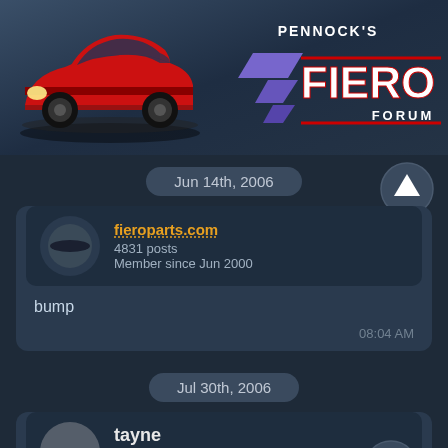[Figure (logo): Pennock's Fiero Forum header banner with red Pontiac Fiero car illustration on left and purple/red logo text on right]
Jun 14th, 2006
fieroparts.com
4831 posts
Member since Jun 2000
bump
08:04 AM
Jul 30th, 2006
tayne
124 posts
Member since Dec 2005